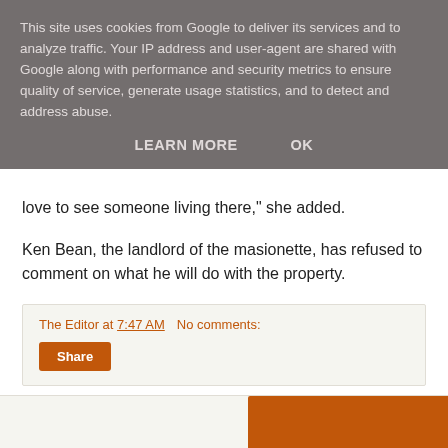This site uses cookies from Google to deliver its services and to analyze traffic. Your IP address and user-agent are shared with Google along with performance and security metrics to ensure quality of service, generate usage statistics, and to detect and address abuse.
LEARN MORE    OK
love to see someone living there," she added.
Ken Bean, the landlord of the masionette, has refused to comment on what he will do with the property.
The Editor at 7:47 AM   No comments:
Share
Monday, February 02, 2009
Big and beautiful